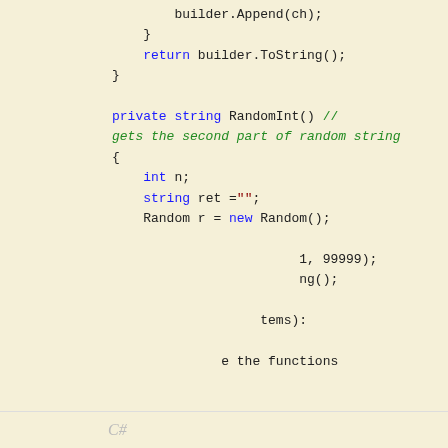[Figure (screenshot): C# code snippet showing builder.Append, return builder.ToString(), private string RandomInt() method with comment, int n, string ret, Random r = new Random(), and partial lines showing 1, 99999 and ng();]
Like every other website we use cookies. By using our site you acknowledge that you have read and understand our Cookie Policy, Privacy Policy, and our Terms of Service. Learn more
Ask me later | Decline | Allow cookies